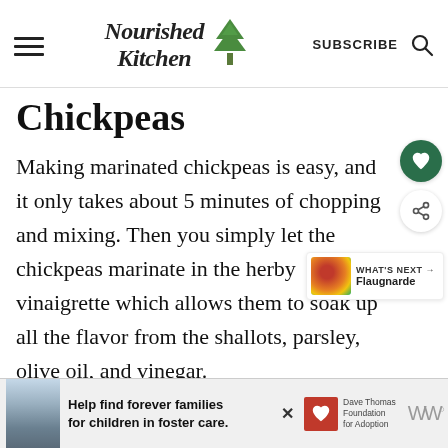Nourished Kitchen — SUBSCRIBE
Chickpeas
Making marinated chickpeas is easy, and it only takes about 5 minutes of chopping and mixing. Then you simply let the chickpeas marinate in the herby vinaigrette which allows them to soak up all the flavor from the shallots, parsley, olive oil, and vinegar.
[Figure (other): Advertisement banner: Help find forever families for children in foster care. Dave Thomas Foundation for Adoption.]